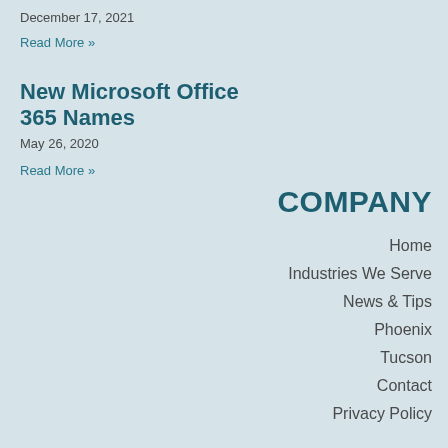December 17, 2021
Read More »
New Microsoft Office 365 Names
May 26, 2020
Read More »
COMPANY
Home
Industries We Serve
News & Tips
Phoenix
Tucson
Contact
Privacy Policy